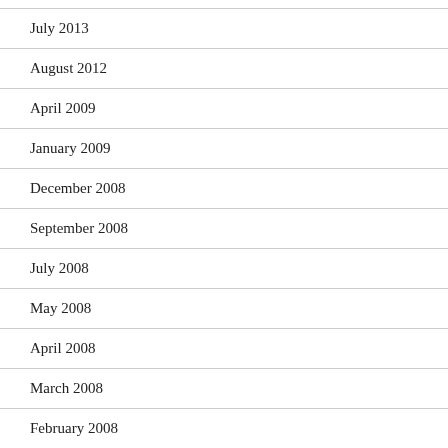July 2013
August 2012
April 2009
January 2009
December 2008
September 2008
July 2008
May 2008
April 2008
March 2008
February 2008